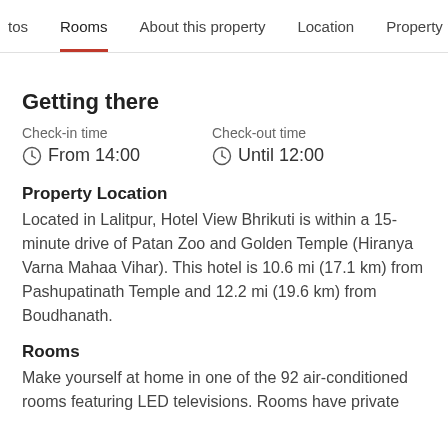tos   Rooms   About this property   Location   Property p
Getting there
Check-in time
⊙ From 14:00
Check-out time
⊙ Until 12:00
Property Location
Located in Lalitpur, Hotel View Bhrikuti is within a 15-minute drive of Patan Zoo and Golden Temple (Hiranya Varna Mahaa Vihar). This hotel is 10.6 mi (17.1 km) from Pashupatinath Temple and 12.2 mi (19.6 km) from Boudhanath.
Rooms
Make yourself at home in one of the 92 air-conditioned rooms featuring LED televisions. Rooms have private